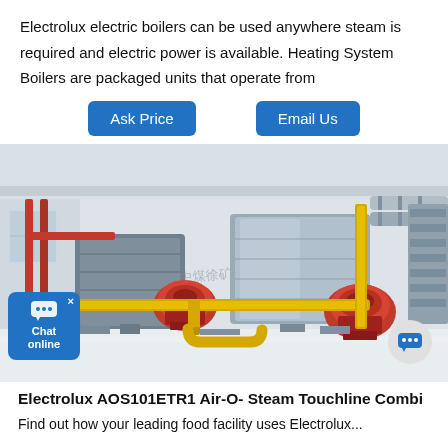Electrolux electric boilers can be used anywhere steam is required and electric power is available. Heating System Boilers are packaged units that operate from
[Figure (screenshot): Two blue industrial steam boilers with red burner heads in a boiler room, yellow gas pipes, red pipes, white walls. Chat online widget bottom-left. Chat bubble button bottom-right.]
Electrolux AOS101ETR1 Air-O- Steam Touchline Combi
Find out how your leading food facility uses Electrolux...